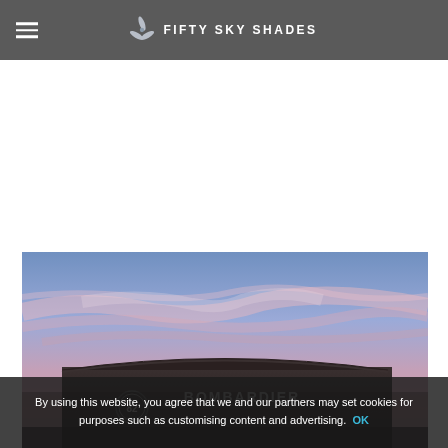FIFTY SKY SHADES
[Figure (photo): Bombardier aviation hangar building photographed at dusk/sunset with a dramatic pink and blue sky. The word 'Bombardier' is visible on the building facade. A circular sign with '82' is also visible.]
By using this website, you agree that we and our partners may set cookies for purposes such as customising content and advertising.  OK